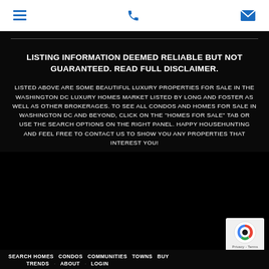[menu icon] [phone icon] [email icon]
LISTING INFORMATION DEEMED RELIABLE BUT NOT GUARANTEED. READ FULL DISCLAIMER.
LISTED ABOVE ARE SOME BEAUTIFUL LUXURY PROPERTIES FOR SALE IN THE WASHINGTON DC LUXURY HOMES MARKET LISTED BY LONG AND FOSTER AS WELL AS OTHER BROKERAGES. TO SEE ALL CONDOS AND HOMES FOR SALE IN WASHINGTON DC AND BEYOND, CLICK ON THE "HOMES FOR SALE" TAB OR USE THE SEARCH OPTIONS ON THE RIGHT PANEL. HAPPY HOUSEHUNTING AND FEEL FREE TO CONTACT US TO SHOW YOU ANY PROPERTIES THAT INTEREST YOU!
SEARCH HOMES   CONDOS   COMMUNITIES   TOWNS   BUY…   TRENDS   ABOUT   LOGIN